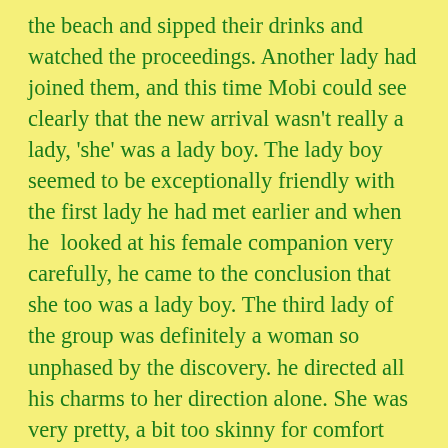the beach and sipped their drinks and watched the proceedings. Another lady had joined them, and this time Mobi could see clearly that the new arrival wasn't really a lady, 'she' was a lady boy. The lady boy seemed to be exceptionally friendly with the first lady he had met earlier and when he  looked at his female companion very carefully, he came to the conclusion that she too was a lady boy. The third lady of the group was definitely a woman so unphased by the discovery. he directed all his charms to her direction alone. She was very pretty, a bit too skinny for comfort and looked very young. She told Mobi she was twenty and had only been coming to these bars for about six weeks. She certainly didn't look a day over twenty and